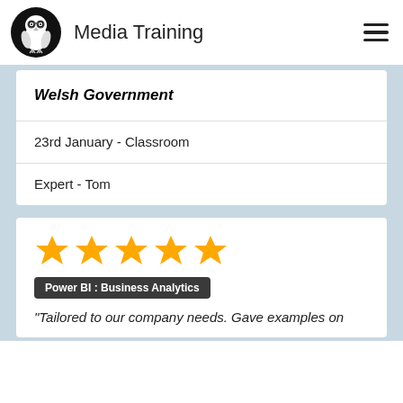Media Training
Welsh Government
23rd January - Classroom
Expert - Tom
[Figure (other): Five gold stars rating]
Power BI : Business Analytics
"Tailored to our company needs. Gave examples on